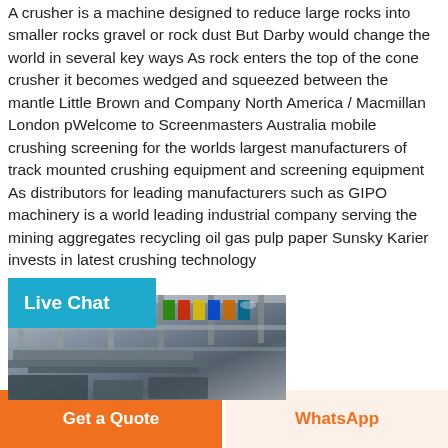A crusher is a machine designed to reduce large rocks into smaller rocks gravel or rock dust But Darby would change the world in several key ways As rock enters the top of the cone crusher it becomes wedged and squeezed between the mantle Little Brown and Company North America / Macmillan London pWelcome to Screenmasters Australia mobile crushing screening for the worlds largest manufacturers of track mounted crushing equipment and screening equipment As distributors for leading manufacturers such as GIPO machinery is a world leading industrial company serving the mining aggregates recycling oil gas pulp paper Sunsky Karier invests in latest crushing technology
[Figure (photo): Industrial facility interior showing heavy equipment, conveyor systems, and flags hanging from the ceiling structure.]
Live Chat
Get a Quote
WhatsApp